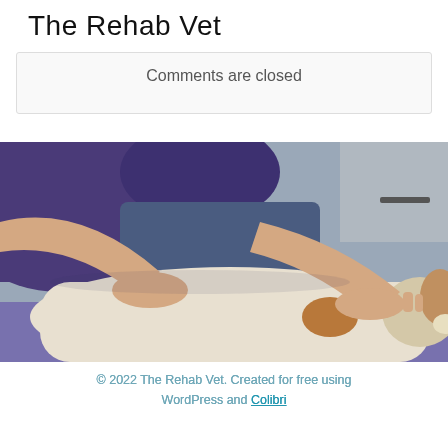The Rehab Vet
Comments are closed
[Figure (photo): A person in a purple top performing hands-on rehabilitation or massage therapy on a white and brown dog lying on its side on a purple mat. The dog appears to be a Jack Russell or similar breed. The therapist's hands are placed on the dog's torso/abdomen area.]
© 2022 The Rehab Vet. Created for free using WordPress and Colibri